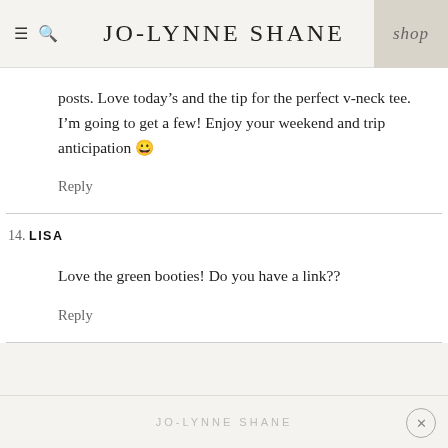JO-LYNNE SHANE | shop
posts.  Love today’s and the tip for the perfect v-neck tee.  I’m going to get a few!  Enjoy your weekend and trip anticipation 😀
Reply
14. LISA
Love the green booties! Do you have a link??
Reply
JO-LYNNE SHANE